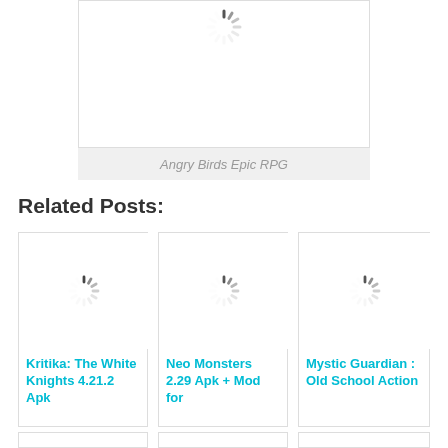[Figure (photo): Loading spinner placeholder image with white background]
Angry Birds Epic RPG
Related Posts:
[Figure (photo): Loading spinner placeholder for Kritika: The White Knights card]
Kritika: The White Knights 4.21.2 Apk
[Figure (photo): Loading spinner placeholder for Neo Monsters card]
Neo Monsters 2.29 Apk + Mod for
[Figure (photo): Loading spinner placeholder for Mystic Guardian card]
Mystic Guardian : Old School Action